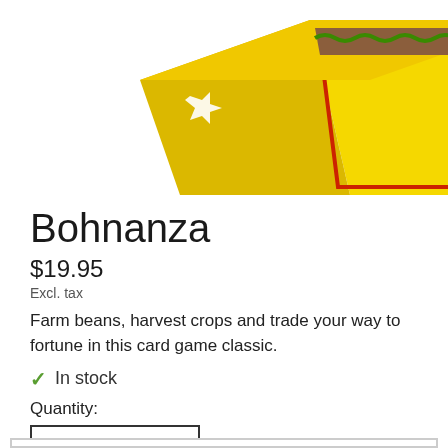[Figure (photo): Product photo of Bohnanza board game box, yellow box with Rio Grande Games branding, shown at an angle from above]
Bohnanza
$19.95
Excl. tax
Farm beans, harvest crops and trade your way to fortune in this card game classic.
✓ In stock
Quantity:
— 1 +
Add to cart